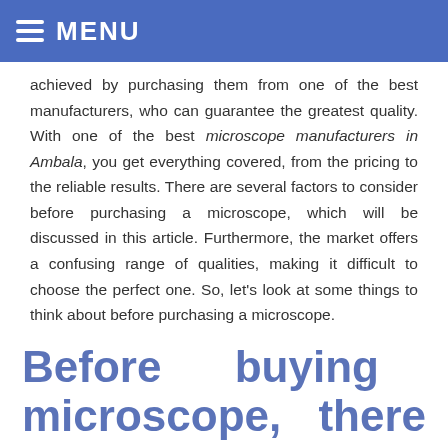MENU
achieved by purchasing them from one of the best manufacturers, who can guarantee the greatest quality. With one of the best microscope manufacturers in Ambala, you get everything covered, from the pricing to the reliable results. There are several factors to consider before purchasing a microscope, which will be discussed in this article. Furthermore, the market offers a confusing range of qualities, making it difficult to choose the perfect one. So, let’s look at some things to think about before purchasing a microscope.
Before buying a microscope, there are a few things to think about.